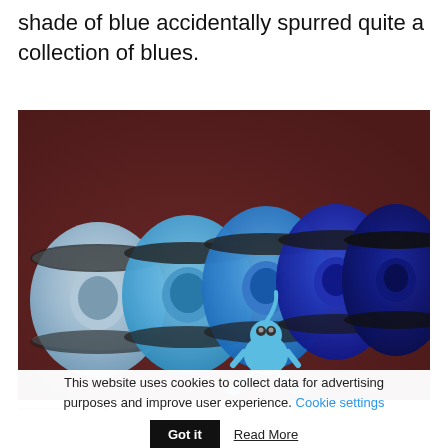shade of blue accidentally spurred quite a collection of blues.
[Figure (photo): Five spools of 3D printer filament in varying shades of blue (from light sky blue to dark navy), arranged side by side on a dark reddish-brown surface. A small blue 3D-printed figurine (resembling a cartoon character) leans against the middle spools.]
This website uses cookies to collect data for advertising purposes and improve user experience. Cookie settings
Got it  Read More